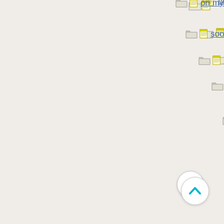on my suet feeder today
soothing a crying baby......
Stop monkeying around
- - - - pushed to hurry up
clever of you
- - -need a dryer?
given enough rope...
Something fishy he
You've got questi
going nude....
- - - -not quite
dark reddi
- - - - lic